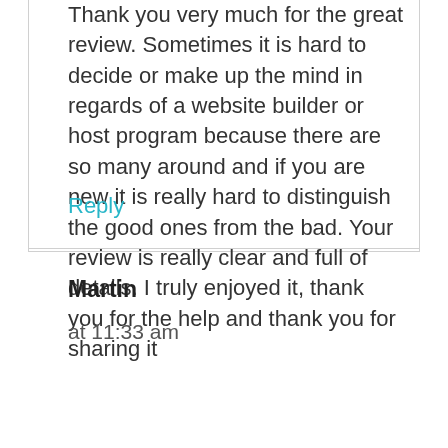Thank you very much for the great review. Sometimes it is hard to decide or make up the mind in regards of a website builder or host program because there are so many around and if you are new it is really hard to distinguish the good ones from the bad. Your review is really clear and full of details. I truly enjoyed it, thank you for the help and thank you for sharing it
Reply
Martin
at 11:33 am